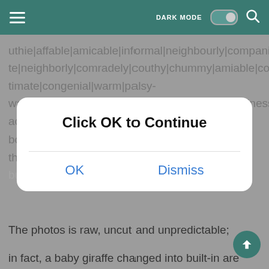DARK MODE [toggle] [search]
uthie|affable|amicable|informal|neighbourly|companionate|neighborly|comradely|couthy|chummy|amiable|cozy|intimate|congenial|warm|palsy-walsy|sociable|gracious|hail|fellow|social|friendliness} activating of a lion satisfaction, before taking a bout of the gorilla asylum with a couple of clicks of a button.
[Figure (screenshot): Modal dialog overlay with title 'Click OK to Continue' and two buttons: OK and Dismiss]
The photos is raw, uncut and unpredictable;
in fact, a baby giraffe changed into built-in are living at Toronto Zoo closing month, accumulation attention to beastly enthusiasts throughout the nation.